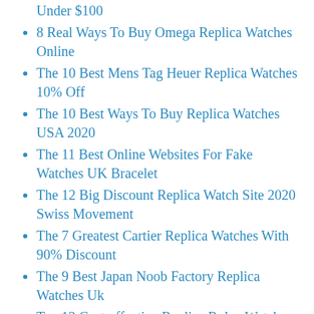Under $100
8 Real Ways To Buy Omega Replica Watches Online
The 10 Best Mens Tag Heuer Replica Watches 10% Off
The 10 Best Ways To Buy Replica Watches USA 2020
The 11 Best Online Websites For Fake Watches UK Bracelet
The 12 Big Discount Replica Watch Site 2020 Swiss Movement
The 7 Greatest Cartier Replica Watches With 90% Discount
The 9 Best Japan Noob Factory Replica Watches Uk
Top 13 Cost-effective Replica Rolex Watches